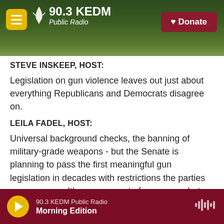90.3 KEDM Public Radio
STEVE INSKEEP, HOST:
Legislation on gun violence leaves out just about everything Republicans and Democrats disagree on.
LEILA FADEL, HOST:
Universal background checks, the banning of military-grade weapons - but the Senate is planning to pass the first meaningful gun legislation in decades with restrictions the parties can agree on. It's a narrow set of measures, but the bill has support from Democrats and Republicans.
90.3 KEDM Public Radio — Morning Edition